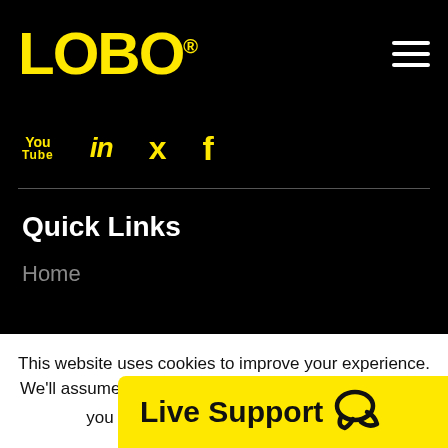[Figure (logo): LOBO logo in yellow on black background with hamburger menu icon]
[Figure (infographic): Social media icons: YouTube, LinkedIn, Twitter, Facebook in yellow on black background]
Quick Links
Home
This website uses cookies to improve your experience. We'll assume you're ok with this, but you can opt-out if you wish.
Accept  Read More
[Figure (infographic): Live Support button with chat icon on yellow background]